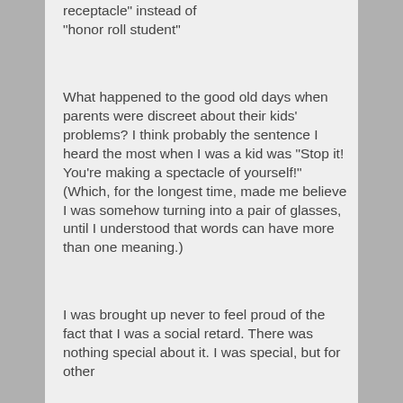receptacle" instead of "honor roll student"
What happened to the good old days when parents were discreet about their kids' problems? I think probably the sentence I heard the most when I was a kid was "Stop it! You're making a spectacle of yourself!" (Which, for the longest time, made me believe I was somehow turning into a pair of glasses, until I understood that words can have more than one meaning.)
I was brought up never to feel proud of the fact that I was a social retard. There was nothing special about it. I was special, but for other